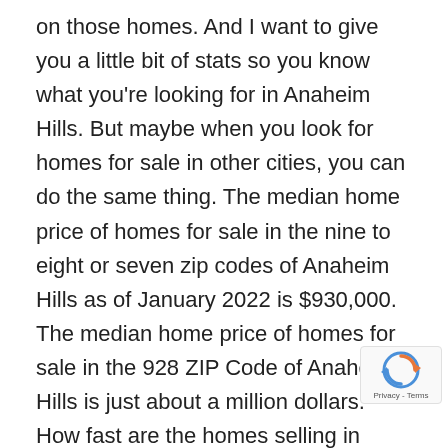on those homes. And I want to give you a little bit of stats so you know what you're looking for in Anaheim Hills. But maybe when you look for homes for sale in other cities, you can do the same thing. The median home price of homes for sale in the nine to eight or seven zip codes of Anaheim Hills as of January 2022 is $930,000. The median home price of homes for sale in the 928 ZIP Code of Anaheim Hills is just about a million dollars. How fast are the homes selling in Anaheim Hills, while the average sale time in Anaheim Hills as of January is only five or six days, a typical or a normal market, it could be anywhere from 90 to 180 days. So when homes sales within five or six days, that's a hot market. And obviously, it's also a seller's market, not the